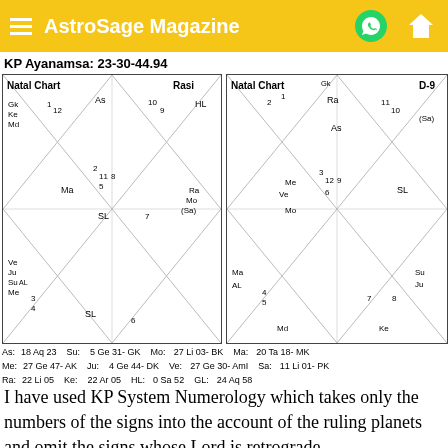AstroSage Magazine
KP Ayanamsa: 23-30-44.94
[Figure (other): Natal Chart Rasi - South Indian style astrological chart with planetary positions: Gk, Ke, Md in top-left; As in top-center (house 12, 10); HL in top-right (house 9); Ma in left (house 11); SL center; Ra, Mo, (Sa) right (house 7); Ve, Ju, Su AL, Me in bottom-left (house 3,4); SL center-bottom; Ra Mo (Sa) bottom-right (house 6,7)]
[Figure (other): Natal Chart D-9 - South Indian style astrological chart with planetary positions: Ra top; As center (house 1,10,11); (Sa) top-right; Me, Ve, Mo center-left (house 2,12); SL right; Ma AL bottom-left (house 4,5); Su, Ju bottom-right (house 7,8); Md bottom-left; Ke bottom-right]
As: 18 Aq 23   Su: 5 Ge 31- GK  Mo: 27 Li 03- BK   Ma: 20 Ta 18- MK
Me: 27 Ge 47- AK  Ju: 4 Ge 44- DK  Ve: 27 Ge 30- AmI  Sa: 11 Li 01- PK
Ra: 22 Li 05   Ke: 22 Ar 05   HL: 0 Sa 52   GL: 24 Aq 58
I have used KP System Numerology which takes only the numbers of the signs into the account of the ruling planets and omit the signs whose Lord is retrograde.